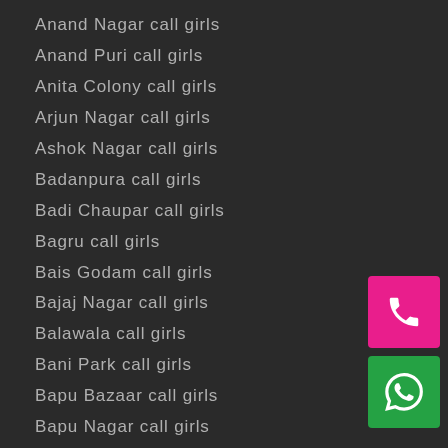Anand Nagar call girls
Anand Puri call girls
Anita Colony call girls
Arjun Nagar call girls
Ashok Nagar call girls
Badanpura call girls
Badi Chaupar call girls
Bagru call girls
Bais Godam call girls
Bajaj Nagar call girls
Balawala call girls
Bani Park call girls
Bapu Bazaar call girls
Bapu Nagar call girls
Barkat Nagar call girls
[Figure (illustration): Pink phone call button and green WhatsApp button in bottom right corner]